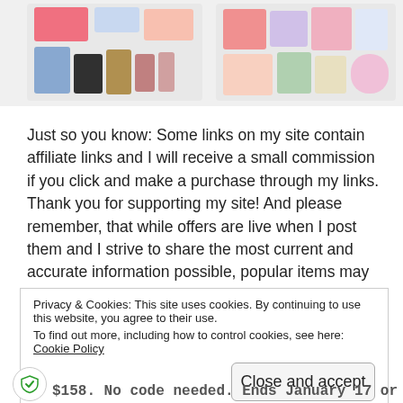[Figure (photo): Two beauty/cosmetics subscription box images side by side showing various skincare and beauty products arranged on a white background.]
Just so you know: Some links on my site contain affiliate links and I will receive a small commission if you click and make a purchase through my links. Thank you for supporting my site! And please remember, that while offers are live when I post them and I strive to share the most current and accurate information possible, popular items may sell out quickly and changes to promotions are out of my control.
Privacy & Cookies: This site uses cookies. By continuing to use this website, you agree to their use.
To find out more, including how to control cookies, see here: Cookie Policy
Close and accept
$158. No code needed. Ends January 17 or while supplies